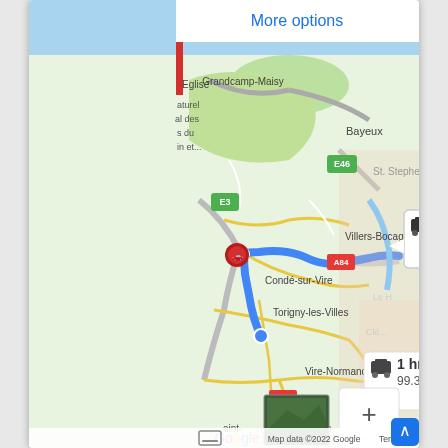[Figure (screenshot): Google Maps screenshot showing driving routes in Normandy, France. Top button shows 'More options' in blue. Three route options visible: 1 hr 10 min / 102 km (top right callout), 1 hr 4 min / 97.7 km (middle callout, selected route shown in blue), and 1 hr 11 min / 99.3 km (lower callout). Map shows towns including Grandcamp-Maisy, Bayeux, Conde-sur-Vire, Torigny-les-Villes, Villers-Bocage, Vire-Normandie. Road labels E46, E3, A84 visible. Zoom controls (+/-) in bottom right, Google logo and 'Map data ©2022 Google Terms of Use' at bottom. Small satellite thumbnail in bottom left corner. Blue navigation button bottom right.]